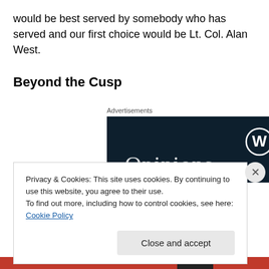would be best served by somebody who has served and our first choice would be Lt. Col. Alan West.
Beyond the Cusp
Advertisements
[Figure (screenshot): WordPress advertisement banner with dark navy background, WordPress logo (W in circle) in top right, and partial text 'Opinions' in white serif font at bottom left]
Privacy & Cookies: This site uses cookies. By continuing to use this website, you agree to their use.
To find out more, including how to control cookies, see here: Cookie Policy